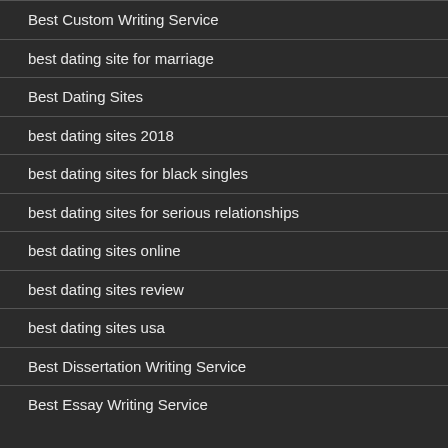Best Custom Writing Service
best dating site for marriage
Best Dating Sites
best dating sites 2018
best dating sites for black singles
best dating sites for serious relationships
best dating sites online
best dating sites review
best dating sites usa
Best Dissertation Writing Service
Best Essay Writing Service